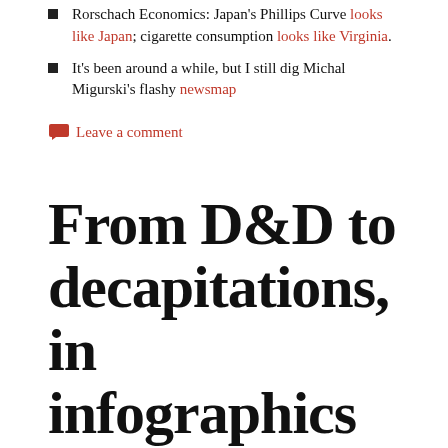Rorschach Economics: Japan's Phillips Curve looks like Japan; cigarette consumption looks like Virginia.
It's been around a while, but I still dig Michal Migurski's flashy newsmap
Leave a comment
From D&D to decapitations, in infographics & maps
March 10, 2008   Illustration, Infographics